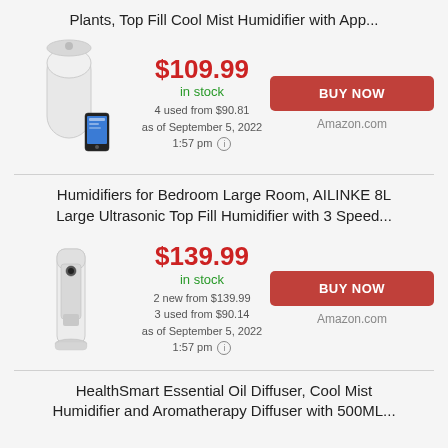Plants, Top Fill Cool Mist Humidifier with App...
$109.99
in stock
4 used from $90.81
as of September 5, 2022
1:57 pm
BUY NOW
Amazon.com
Humidifiers for Bedroom Large Room, AILINKE 8L Large Ultrasonic Top Fill Humidifier with 3 Speed...
$139.99
in stock
2 new from $139.99
3 used from $90.14
as of September 5, 2022
1:57 pm
BUY NOW
Amazon.com
HealthSmart Essential Oil Diffuser, Cool Mist Humidifier and Aromatherapy Diffuser with 500ML...